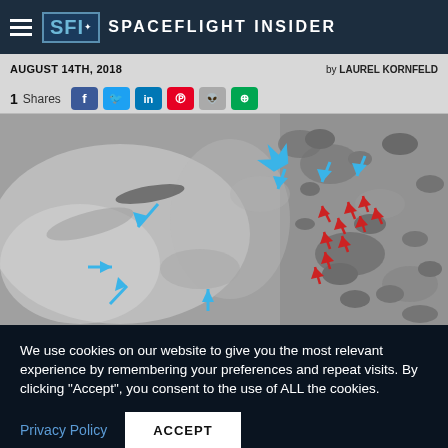Spaceflight Insider
AUGUST 14TH, 2018   by LAUREL KORNFELD
1 Shares
[Figure (photo): Grayscale image of Pluto's surface showing terrain features with blue arrows pointing to wind streak features and red arrows marking other geological features.]
We use cookies on our website to give you the most relevant experience by remembering your preferences and repeat visits. By clicking “Accept”, you consent to the use of ALL the cookies.
Privacy Policy   ACCEPT